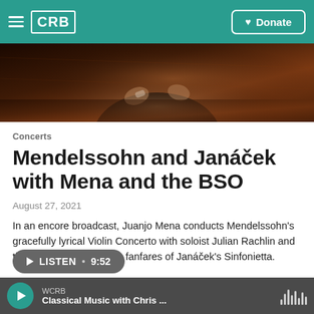CRB | Donate
[Figure (photo): Hero image showing a conductor with raised hands against a dark warm brown background, partial view of figure in dark suit]
Concerts
Mendelssohn and Janáček with Mena and the BSO
August 27, 2021
In an encore broadcast, Juanjo Mena conducts Mendelssohn's gracefully lyrical Violin Concerto with soloist Julian Rachlin and the hyper-charged brass fanfares of Janáček's Sinfonietta.
LISTEN • 9:52 | WCRB Classical Music with Chris ...